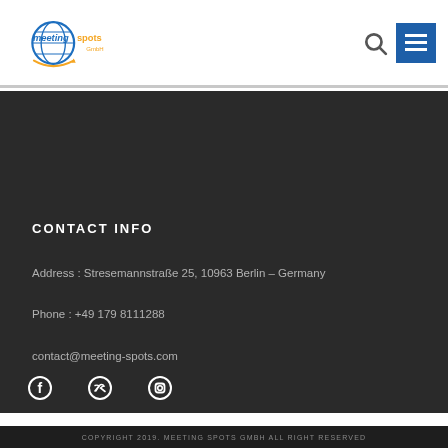[Figure (logo): meeting spots GmbH logo with globe icon and arrow, blue and orange]
CONTACT INFO
Address : Stresemannstraße 25, 10963 Berlin – Germany
Phone : +49 179 8111288
contact@meeting-spots.com
[Figure (other): Social media icons: Facebook, Twitter, Instagram]
COPYRIGHT 2019. MEETING SPOTS GMBH ALL RIGHT RESERVED